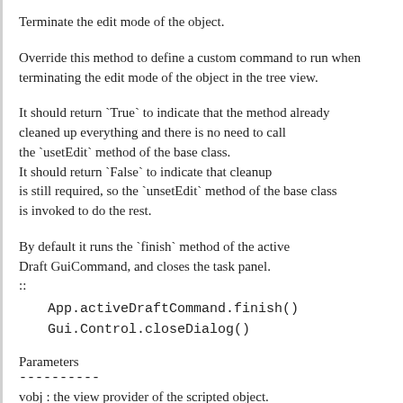Terminate the edit mode of the object.
Override this method to define a custom command to run when terminating the edit mode of the object in the tree view.
It should return `True` to indicate that the method already cleaned up everything and there is no need to call the `usetEdit` method of the base class.
It should return `False` to indicate that cleanup is still required, so the `unsetEdit` method of the base class is invoked to do the rest.
By default it runs the `finish` method of the active Draft GuiCommand, and closes the task panel.
::
    App.activeDraftCommand.finish()
    Gui.Control.closeDialog()
Parameters
----------
vobj : the view provider of the scripted object.